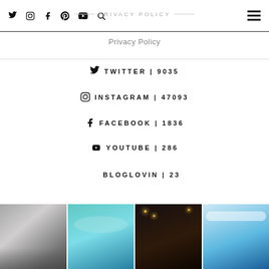PRIVACY POLICY
Privacy Policy
TWITTER | 9035
INSTAGRAM | 47093
FACEBOOK | 1836
YOUTUBE | 286
BLOGLOVIN | 23
[Figure (photo): Four thumbnail photos at the bottom: black and white bedroom photo, turquoise sea/island photo, dark evening outdoor lights photo, blue sky photo.]